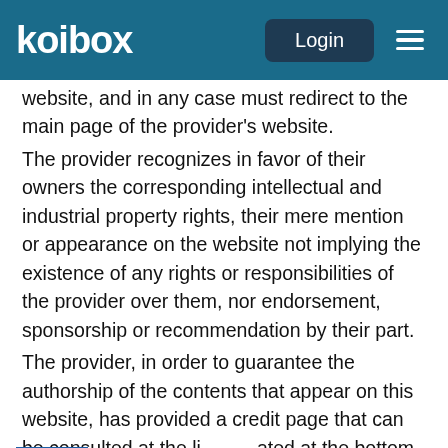koibox | Login
website, and in any case must redirect to the main page of the provider's website.
The provider recognizes in favor of their owners the corresponding intellectual and industrial property rights, their mere mention or appearance on the website not implying the existence of any rights or responsibilities of the provider over them, nor endorsement, sponsorship or recommendation by their part.
The provider, in order to guarantee the authorship of the contents that appear on this website, has provided a credit page that can be consulted at the link located at the bottom of the website, as well as, where required, the indication of the image rights